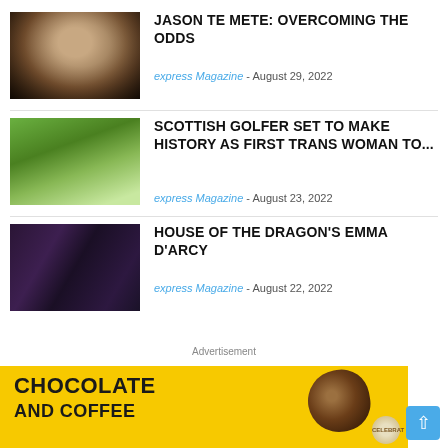[Figure (photo): Headshot of Jason Te Mete, a man smiling against a dark background]
JASON TE METE: OVERCOMING THE ODDS
express Magazine - August 29, 2022
[Figure (photo): Female golfer mid-swing on a golf course with green trees in background]
SCOTTISH GOLFER SET TO MAKE HISTORY AS FIRST TRANS WOMAN TO...
express Magazine - August 23, 2022
[Figure (photo): Two women in medieval fantasy costumes from House of the Dragon]
HOUSE OF THE DRAGON'S EMMA D'ARCY
express Magazine - August 22, 2022
Advertisement
[Figure (illustration): Yellow advertisement banner reading CHOCOLATE AND COFFEE with coffee bean imagery and a Celebrations badge]